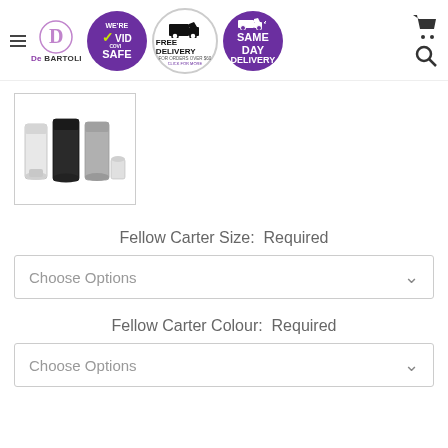De Bartoli - We're COVID Safe - Free Delivery for orders over $60 - Same Day Delivery
[Figure (photo): Product thumbnail showing Fellow Carter travel mugs in white, black, and grey]
Fellow Carter Size:  Required
Choose Options
Fellow Carter Colour:  Required
Choose Options